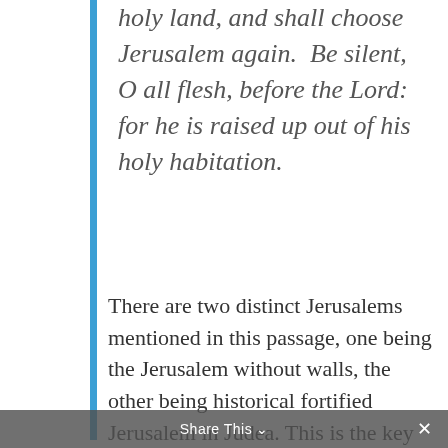holy land, and shall choose Jerusalem again. Be silent, O all flesh, before the Lord: for he is raised up out of his holy habitation.
There are two distinct Jerusalems mentioned in this passage, one being the Jerusalem without walls, the other being historical fortified Jerusalem in Judea. This is the key to unlock the Book of Ezekiel and its prophetic significance for the remnant of Yeh. Now recognizing